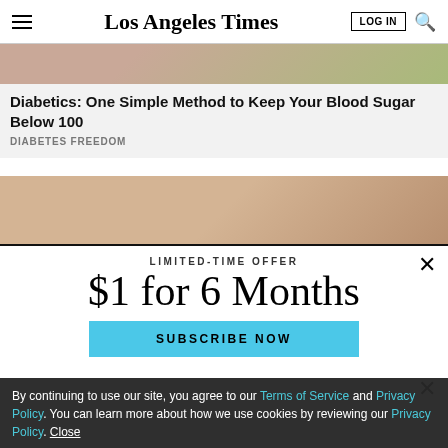Los Angeles Times | LOG IN | search
[Figure (screenshot): Top portion of an ad image strip showing skin-tone blurred image]
Diabetics: One Simple Method to Keep Your Blood Sugar Below 100
DIABETES FREEDOM
[Figure (screenshot): Second ad image strip showing blurred skin-tone image]
LIMITED-TIME OFFER
$1 for 6 Months
SUBSCRIBE NOW
MAY - OCT 2022   GET TICKETS
By continuing to use our site, you agree to our Terms of Service and Privacy Policy. You can learn more about how we use cookies by reviewing our Privacy Policy. Close